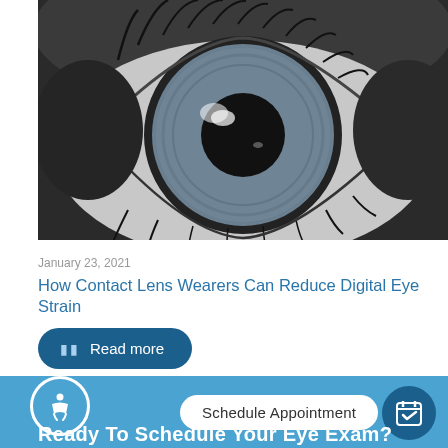[Figure (photo): Close-up black and white macro photograph of a human eye showing the iris, pupil, and eyelashes in extreme detail]
January 23, 2021
How Contact Lens Wearers Can Reduce Digital Eye Strain
Read more
Schedule Appointment
Ready To Schedule Your Eye Exam?